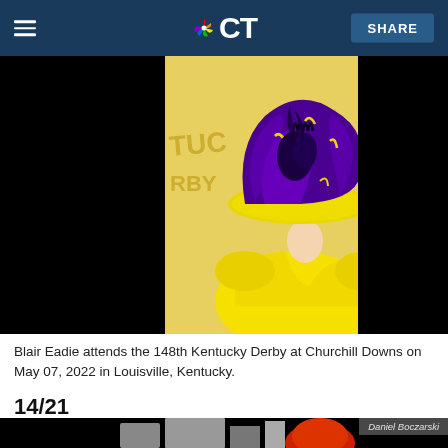CT SHARE
[Figure (photo): Blair Eadie wearing a large purple and yellow hat and yellow off-shoulder dress at Kentucky Derby. Credit: Jeff Schear/Getty Images for Churchill Downs]
Blair Eadie attends the 148th Kentucky Derby at Churchill Downs on May 07, 2022 in Louisville, Kentucky.
14/21
[Figure (photo): Partial next slideshow image. Credit: Daniel Boczarski]